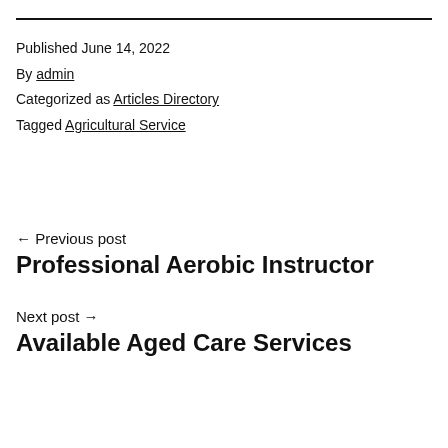Published June 14, 2022
By admin
Categorized as Articles Directory
Tagged Agricultural Service
← Previous post
Professional Aerobic Instructor
Next post →
Available Aged Care Services